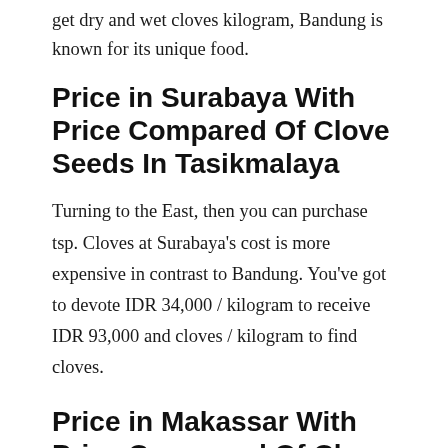get dry and wet cloves kilogram, Bandung is known for its unique food.
Price in Surabaya With Price Compared Of Clove Seeds In Tasikmalaya
Turning to the East, then you can purchase tsp. Cloves at Surabaya's cost is more expensive in contrast to Bandung. You've got to devote IDR 34,000 / kilogram to receive IDR 93,000 and cloves / kilogram to find cloves.
Price in Makassar With Price Compared Of Clove Seeds In Tasikmalaya